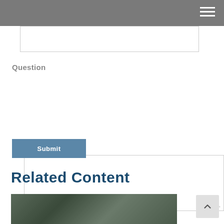Navigation header with hamburger menu icon
(input field — text box)
Question
(textarea input field)
Submit
Related Content
[Figure (photo): A photo related to related content section, showing an outdoor scene with dark tones]